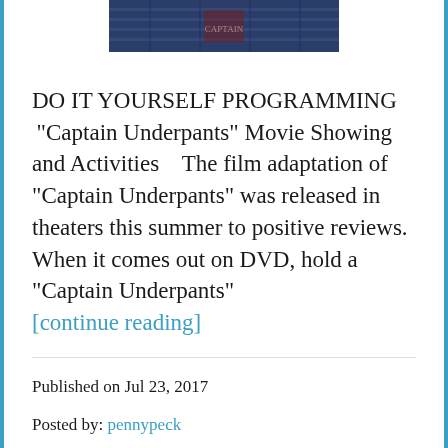[Figure (photo): Top portion of a Captain Underpants movie poster or image, cropped, showing a building/structure with dark blue tones]
DO IT YOURSELF PROGRAMMING “Captain Underpants” Movie Showing and Activities  The film adaptation of “Captain Underpants” was released in theaters this summer to positive reviews. When it comes out on DVD, hold a “Captain Underpants” [continue reading]
Published on Jul 23, 2017
Posted by: pennypeck
Categories: Programming Ideas
Tags: Captain Underpants